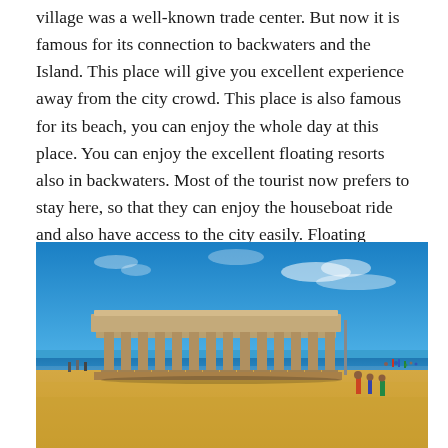village was a well-known trade center. But now it is famous for its connection to backwaters and the Island. This place will give you excellent experience away from the city crowd. This place is also famous for its beach, you can enjoy the whole day at this place. You can enjoy the excellent floating resorts also in backwaters. Most of the tourist now prefers to stay here, so that they can enjoy the houseboat ride and also have access to the city easily. Floating resorts gives a different feel and experience to the tourist.
[Figure (photo): A beach scene featuring an ancient stone temple/pillared structure (open mandapa) on a sandy beach under a bright blue sky with light clouds. People are walking on the sandy beach in the background and to the right. The ocean is visible in the distance.]